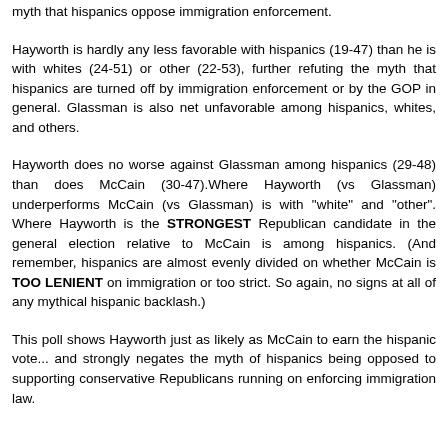myth that hispanics oppose immigration enforcement.
Hayworth is hardly any less favorable with hispanics (19-47) than he is with whites (24-51) or other (22-53), further refuting the myth that hispanics are turned off by immigration enforcement or by the GOP in general. Glassman is also net unfavorable among hispanics, whites, and others.
Hayworth does no worse against Glassman among hispanics (29-48) than does McCain (30-47).Where Hayworth (vs Glassman) underperforms McCain (vs Glassman) is with "white" and "other". Where Hayworth is the STRONGEST Republican candidate in the general election relative to McCain is among hispanics. (And remember, hispanics are almost evenly divided on whether McCain is TOO LENIENT on immigration or too strict. So again, no signs at all of any mythical hispanic backlash.)
This poll shows Hayworth just as likely as McCain to earn the hispanic vote... and strongly negates the myth of hispanics being opposed to supporting conservative Republicans running on enforcing immigration law.